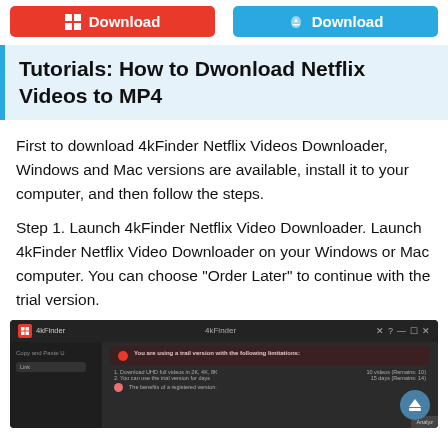[Figure (screenshot): Two download buttons: red Windows Download button and blue Mac Download button]
Tutorials: How to Dwonload Netflix Videos to MP4
First to download 4kFinder Netflix Videos Downloader, Windows and Mac versions are available, install it to your computer, and then follow the steps.
Step 1. Launch 4kFinder Netflix Video Downloader. Launch 4kFinder Netflix Video Downloader on your Windows or Mac computer. You can choose "Order Later" to continue with the trial version.
[Figure (screenshot): Screenshot of 4kFinder application showing trial version limitations dialog with options to download UHD full videos in 2K, 4K, 8K (10 videos remaining) and use the trial version for days (15 days remaining 14). Also shows benefits of registered version.]